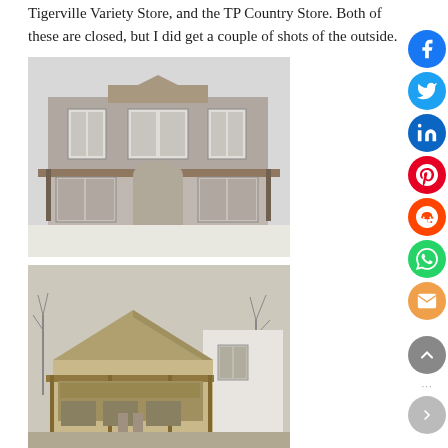Tigerville Variety Store, and the TP Country Store. Both of these are closed, but I did get a couple of shots of the outside.
[Figure (photo): Black and white photograph of a two-story brick commercial building (Tigerville Variety Store), with arched windows on the ground floor and rectangular windows on the upper floor, exterior covered porch.]
[Figure (photo): Sepia/black and white photograph of a small wooden general store building with a peaked roof and a covered front porch, gas pump visible, old rural country store (TP Country Store).]
From mills to stores, and now bridges. I thought I might